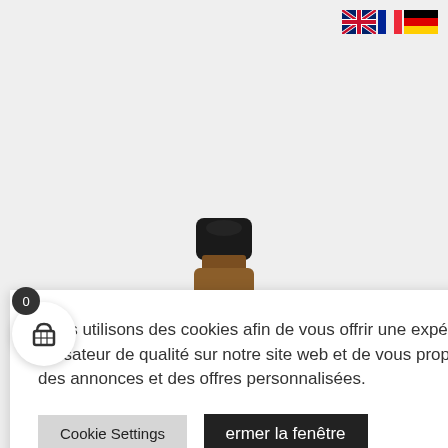[Figure (illustration): Language selector flags: UK flag, French flag, German flag, positioned top right]
[Figure (photo): Top portion of an amber glass bottle with a black cap, product image on light grey background]
Nous utilisons des cookies afin de vous offrir une expérience utilisateur de qualité sur notre site web et de vous proposer des annonces et des offres personnalisées.
Cookie Settings
ermer la fenêtre
[Figure (illustration): Shopping basket icon in white circle with badge showing 0]
Besoin d'aide ?
[Figure (illustration): reCAPTCHA badge with blue recycling arrow icon]